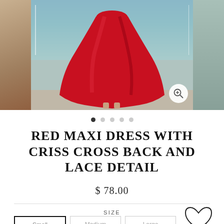[Figure (photo): Product image carousel showing a woman wearing a red maxi dress with criss cross back and lace detail, photographed outdoors with water and palm trees in background. Side panels show partial views.]
RED MAXI DRESS WITH CRISS CROSS BACK AND LACE DETAIL
$ 78.00
SIZE
Small
Medium
Large